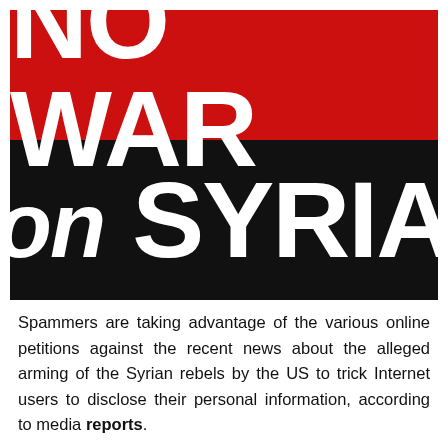[Figure (illustration): A protest poster with two sections: a red background top section with bold white uppercase text 'NO WAR', and a black background bottom section with bold white text 'on SYRIA'.]
Spammers are taking advantage of the various online petitions against the recent news about the alleged arming of the Syrian rebels by the US to trick Internet users to disclose their personal information, according to media reports.